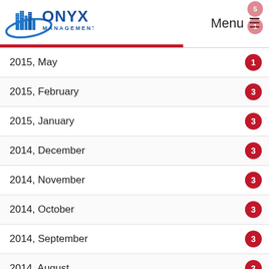[Figure (logo): Onyx Management Group logo with building graphic and blue swoosh]
2015, May — 1
2015, February — 3
2015, January — 3
2014, December — 3
2014, November — 3
2014, October — 3
2014, September — 3
2014, August — 3
2014, July — 3
2014, June — 2
2014, May — 3
2014, April — 3
2014, March — 3
2014, February — 1